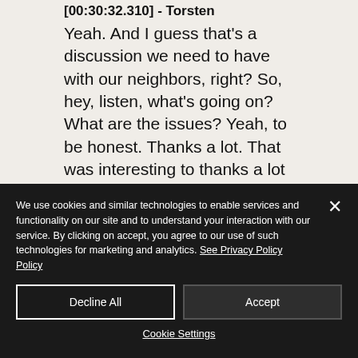[00:30:32.310] - Torsten
Yeah. And I guess that's a discussion we need to have with our neighbors, right? So, hey, listen, what's going on? What are the issues? Yeah, to be honest. Thanks a lot. That was interesting to thanks a lot for taking us on your solar journey. I wish you all the best for DZ-4 and all the future ideas that you have. And good luck
We use cookies and similar technologies to enable services and functionality on our site and to understand your interaction with our service. By clicking on accept, you agree to our use of such technologies for marketing and analytics. See Privacy Policy
Decline All
Accept
Cookie Settings